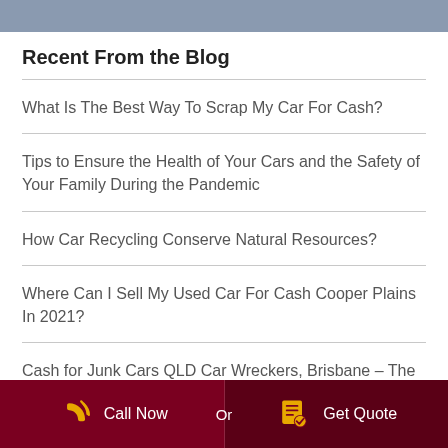Recent From the Blog
What Is The Best Way To Scrap My Car For Cash?
Tips to Ensure the Health of Your Cars and the Safety of Your Family During the Pandemic
How Car Recycling Conserve Natural Resources?
Where Can I Sell My Used Car For Cash Cooper Plains In 2021?
Cash for Junk Cars QLD Car Wreckers, Brisbane – The
Call Now  Or  Get Quote